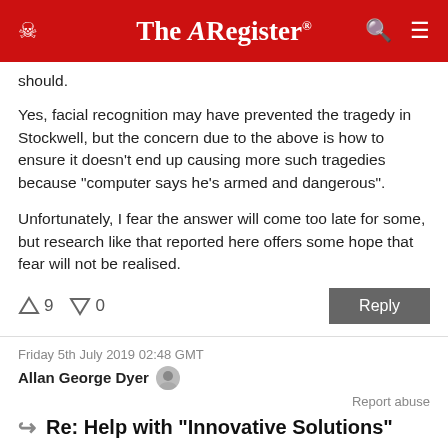The Register
should.
Yes, facial recognition may have prevented the tragedy in Stockwell, but the concern due to the above is how to ensure it doesn't end up causing more such tragedies because "computer says he's armed and dangerous".
Unfortunately, I fear the answer will come too late for some, but research like that reported here offers some hope that fear will not be realised.
↑9  ↓0   Reply
Friday 5th July 2019 02:48 GMT
Allan George Dyer
Report abuse
Re: Help with "Innovative Solutions"